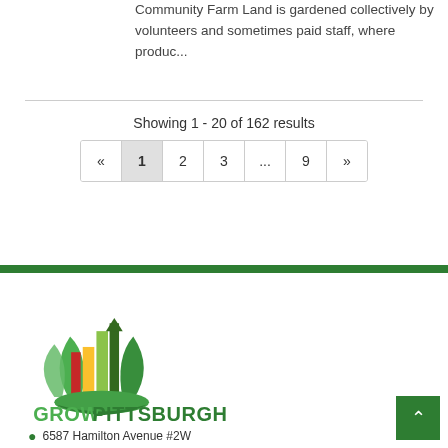Community Farm Land is gardened collectively by volunteers and sometimes paid staff, where produc...
Showing 1 - 20 of 162 results
[Figure (other): Pagination control showing pages: « 1 2 3 ... 9 »]
[Figure (logo): Grow Pittsburgh logo with colorful plant/building graphic above text GROW PITTSBURGH in green]
6587 Hamilton Avenue #2W